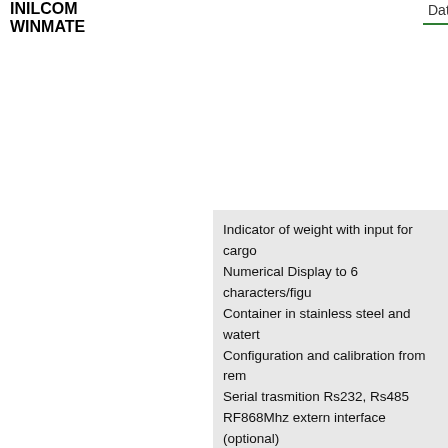WINMATE
Datasheet
Indicator of weight with input for cargo
Numerical Display to 6 characters/figu
Container in stainless steel and watert
Configuration and calibration from rem
Serial trasmition Rs232, Rs485
RF868Mhz extern interface (optional)